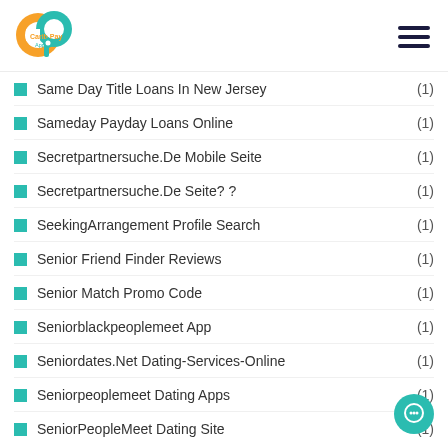Carib Pay App logo and hamburger menu
Same Day Title Loans In New Jersey (1)
Sameday Payday Loans Online (1)
Secretpartnersuche.De Mobile Seite (1)
Secretpartnersuche.De Seite? ? (1)
SeekingArrangement Profile Search (1)
Senior Friend Finder Reviews (1)
Senior Match Promo Code (1)
Seniorblackpeoplemeet App (1)
Seniordates.Net Dating-Services-Online (1)
Seniorpeoplemeet Dating Apps (1)
SeniorPeopleMeet Dating Site (1)